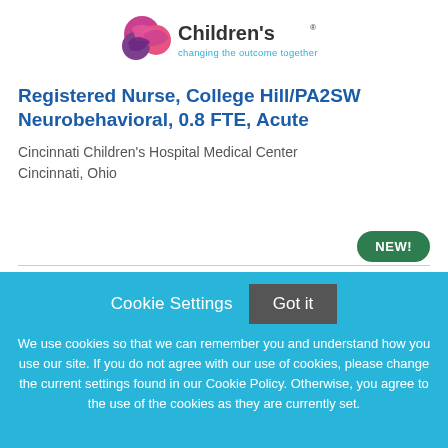[Figure (logo): Cincinnati Children's Hospital logo — circular icon with pink/purple shapes and text 'Children's changing the outcome together']
Registered Nurse, College Hill/PA2SW Neurobehavioral, 0.8 FTE, Acute
Cincinnati Children's Hospital Medical Center
Cincinnati, Ohio
NEW!
Cookie Settings
Got it
We use cookies so that we can remember you and understand how you use our site. If you do not agree with our use of cookies, please change the current settings found in our Cookie Policy. Otherwise, you agree to the use of the cookies as they are currently set.